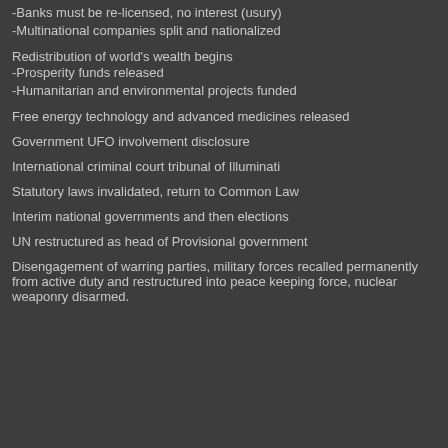-Banks must be re-licensed, no interest (usury)
-Multinational companies split and nationalized
Redistribution of world's wealth begins
-Prosperity funds released
-Humanitarian and environmental projects funded
Free energy technology and advanced medicines released
Government UFO involvement disclosure
International criminal court tribunal of Illuminati
Statutory laws invalidated, return to Common Law
Interim national governments and then elections
UN restructured as head of Provisional government
Disengagement of warring parties, military forces recalled permanently from active duty and restructured into peace keeping force, nuclear weaponry disarmed.